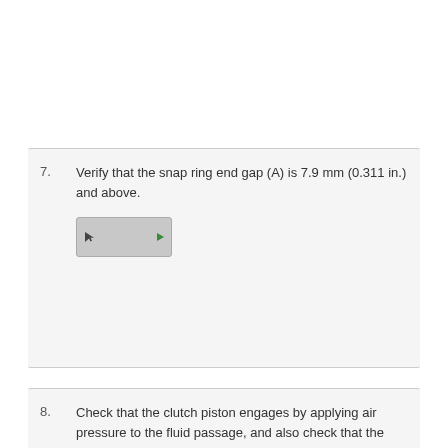7. Verify that the snap ring end gap (A) is 7.9 mm (0.311 in.) and above.
[Figure (screenshot): Video/animation thumbnail showing a cursor arrow and a play icon, with a light gray background]
8. Check that the clutch piston engages by applying air pressure to the fluid passage, and also check that the piston releases when released air pressure.